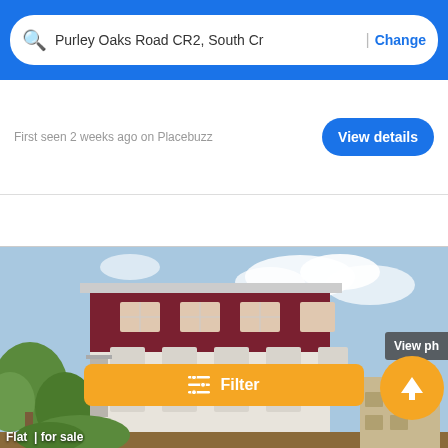[Figure (screenshot): Mobile app search bar with blue background, showing search input reading 'Purley Oaks Road CR2, South Cr' with a 'Change' link]
First seen 2 weeks ago on Placebuzz
[Figure (screenshot): View details button (blue, rounded) for a property listing]
[Figure (photo): Property listing photo showing a modern multi-storey residential block with dark red/maroon upper floors, white lower floors, trees and blue sky background]
Filter
View ph
Flat | for sale